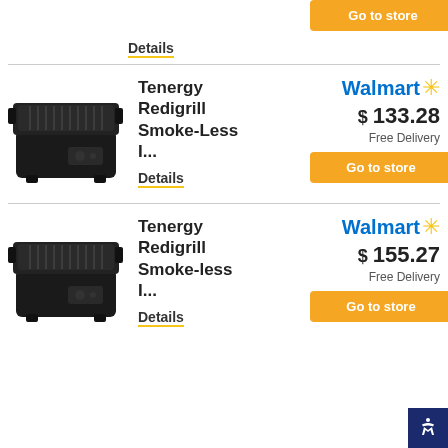[Figure (photo): Top section showing partial product image (grilling tool) and Go to store button]
[Figure (photo): Tenergy Redigrill Smoke-Less indoor grill product image]
Tenergy Redigrill Smoke-Less I...
Details
Walmart $133.28 Free Delivery
Go to store
[Figure (photo): Tenergy Redigrill Smoke-less indoor grill product image]
Tenergy Redigrill Smoke-less I...
Details
Walmart $155.27 Free Delivery
Go to store